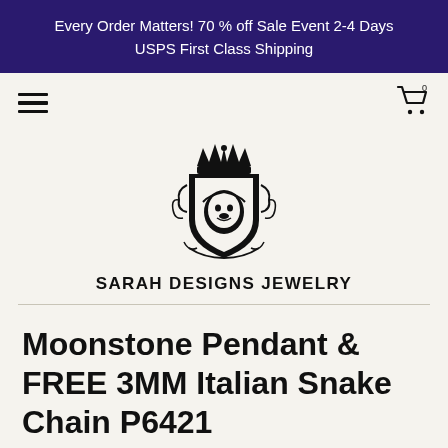Every Order Matters! 70 % off Sale Event 2-4 Days
USPS First Class Shipping
[Figure (logo): Sarah Designs Jewelry heraldic crest logo with lion and crown, with text SARAH DESIGNS JEWELRY below]
Moonstone Pendant & FREE 3MM Italian Snake Chain P6421